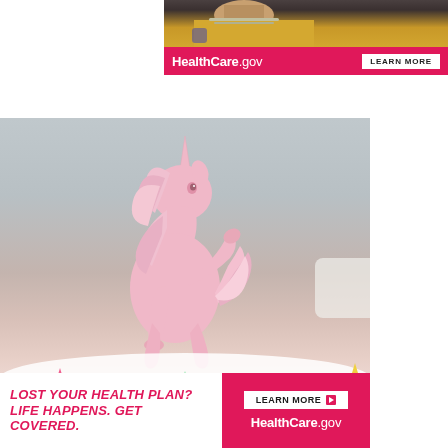[Figure (photo): Top advertisement banner for HealthCare.gov showing a person in yellow shirt with pink banner saying HealthCare.gov and LEARN MORE button]
[Figure (photo): Photo of a pink unicorn figurine rearing up on hind legs, surrounded by colorful star-shaped sprinkles and whipped cream on a pink surface]
[Figure (photo): Bottom advertisement banner: white left side reads LOST YOUR HEALTH PLAN? LIFE HAPPENS. GET COVERED. in pink italic bold text; right pink side has LEARN MORE button and HealthCare.gov logo]